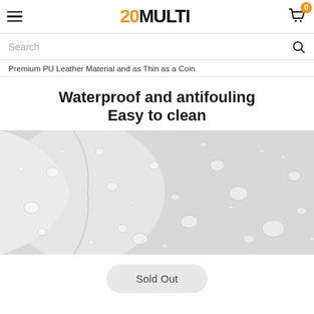20MULTI — hamburger menu, logo, cart (0)
Search
Premium PU Leather Material and as Thin as a Coin
Waterproof and antifouling
Easy to clean
[Figure (photo): Close-up photo of water droplets on a light grey PU leather material surface, material rolled/curved on the left side]
Sold Out